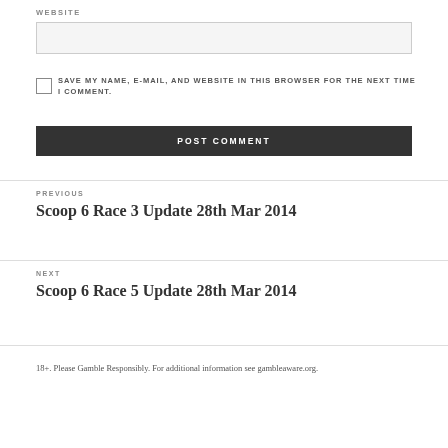WEBSITE
SAVE MY NAME, E-MAIL, AND WEBSITE IN THIS BROWSER FOR THE NEXT TIME I COMMENT.
POST COMMENT
PREVIOUS
Scoop 6 Race 3 Update 28th Mar 2014
NEXT
Scoop 6 Race 5 Update 28th Mar 2014
18+. Please Gamble Responsibly. For additional information see gambleaware.org.